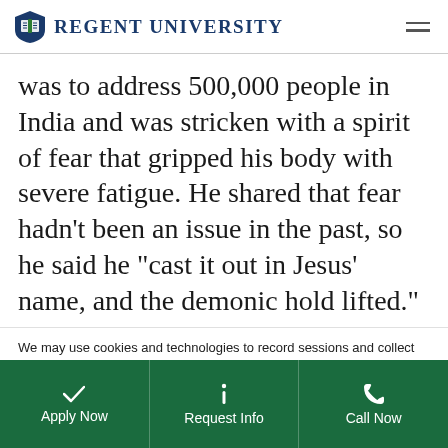Regent University
was to address 500,000 people in India and was stricken with a spirit of fear that gripped his body with severe fatigue. He shared that fear hadn’t been an issue in the past, so he said he “cast it out in Jesus’ name, and the demonic hold lifted.”
We may use cookies and technologies to record sessions and collect data to improve user's experience. You understand and agree to our Privacy Policy.
Apply Now | Request Info | Call Now